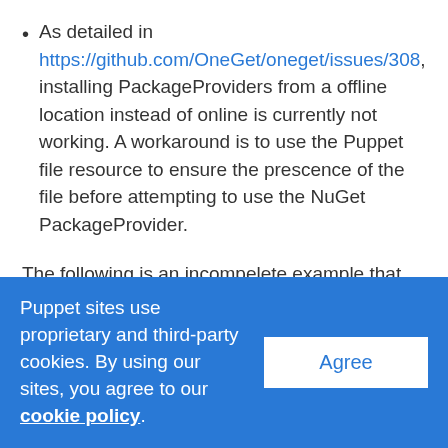As detailed in https://github.com/OneGet/oneget/issues/308, installing PackageProviders from a offline location instead of online is currently not working. A workaround is to use the Puppet file resource to ensure the prescence of the file before attempting to use the NuGet PackageProvider.
The following is an incompelete example that copies the NuGet provider dll to the directory that PowerShellGet expects. You would have to modify this declaration to complete the permissions for the target and the location of the source file.
Puppet sites use proprietary and third-party cookies. By using our sites, you agree to our cookie policy.